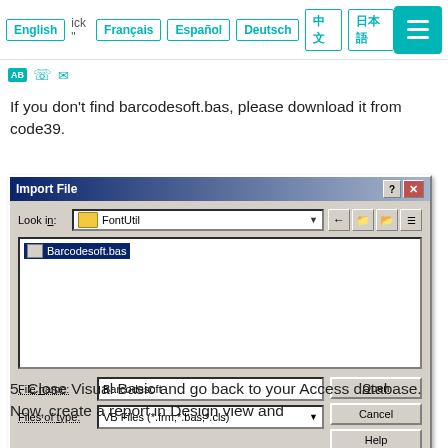English | Français | Español | Deutsch | 中文 | 日本語
If you don't find barcodesoft.bas, please download it from code39.
[Figure (screenshot): Windows Import File dialog showing FontUtil folder with Barcodesoft.bas selected, file name field showing 'Barcodesoft', files of type showing 'VB Files (*.frm;*.bas;*.cls)', with Open, Cancel, and Help buttons]
5. Close Visual Basic and go back to your Access database. Now, create a report in Design view and